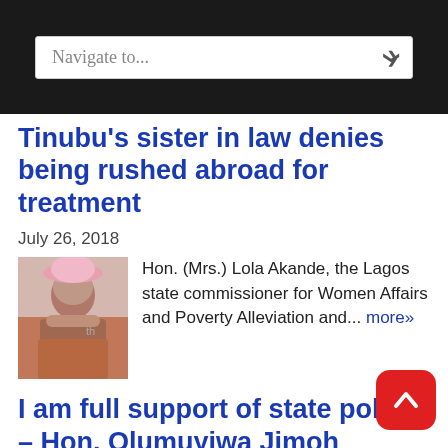Navigate to...
Tinubu's sister in law denies being rushed abroad for treatment
July 26, 2018
Hon. (Mrs.) Lola Akande, the Lagos state commissioner for Women Affairs and Poverty Alleviation and... more»
I am full support of state police – Hon. Olumuyiwa Jimoh
July 25, 2018
Hon. Olumuyiwa Jimoh is